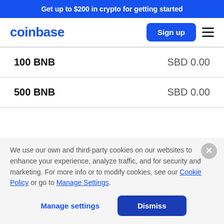Get up to $200 in crypto for getting started
[Figure (logo): Coinbase logo in blue text with Sign up button and hamburger menu]
| Amount | Value |
| --- | --- |
| 100 BNB | SBD 0.00 |
| 500 BNB | SBD 0.00 |
We use our own and third-party cookies on our websites to enhance your experience, analyze traffic, and for security and marketing. For more info or to modify cookies, see our Cookie Policy or go to Manage Settings.